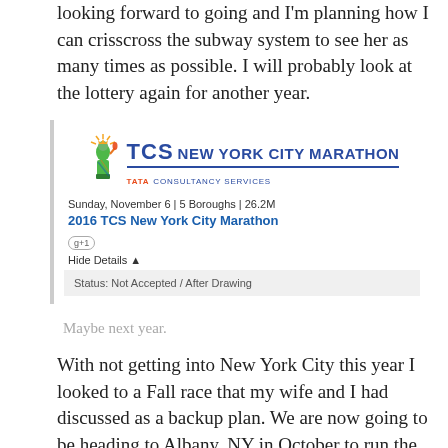looking forward to going and I'm planning how I can crisscross the subway system to see her as many times as possible. I will probably look at the lottery again for another year.
[Figure (screenshot): TCS New York City Marathon event listing screenshot showing logo, date 'Sunday, November 6 | 5 Boroughs | 26.2M', event title '2016 TCS New York City Marathon', a G+1 badge, Hide Details button, and Status: Not Accepted / After Drawing]
Maybe next year.
With not getting into New York City this year I looked to a Fall race that my wife and I had discussed as a backup plan. We are now going to be heading to Albany, NY in October to run the Mohawk Hudson River Marathon. My wife will be running the half